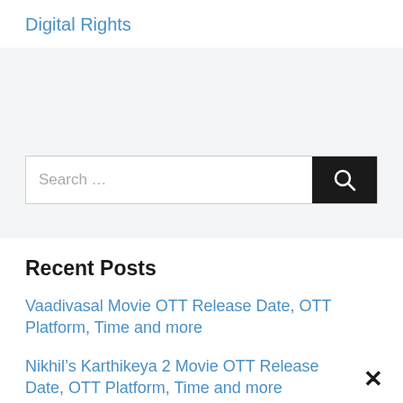Digital Rights
Search …
Recent Posts
Vaadivasal Movie OTT Release Date, OTT Platform, Time and more
Nikhil's Karthikeya 2 Movie OTT Release Date, OTT Platform, Time and more